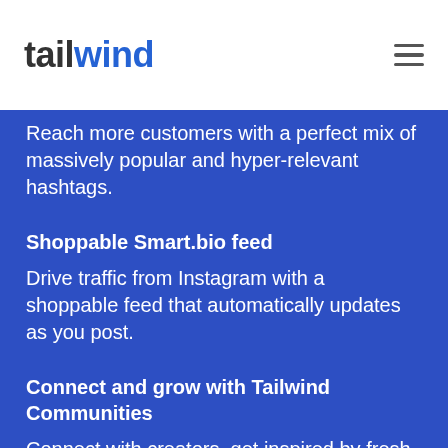[Figure (logo): Tailwind logo with 'tail' in dark grey and 'wind' in blue, with a stylized loop on the 'i']
Reach more customers with a perfect mix of massively popular and hyper-relevant hashtags.
Shoppable Smart.bio feed
Drive traffic from Instagram with a shoppable feed that automatically updates as you post.
Connect and grow with Tailwind Communities
Connect with creators, get inspired by fresh ideas, and build relationships in more than 20,000 Tailwind Communities.